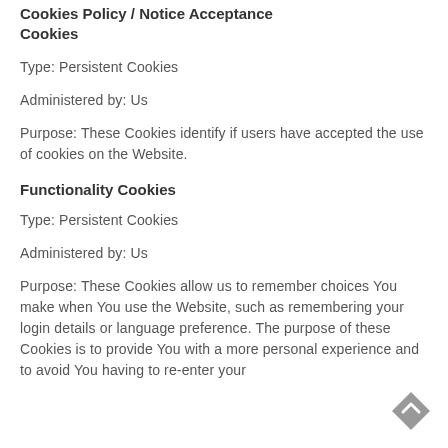Cookies Policy / Notice Acceptance Cookies
Type: Persistent Cookies
Administered by: Us
Purpose: These Cookies identify if users have accepted the use of cookies on the Website.
Functionality Cookies
Type: Persistent Cookies
Administered by: Us
Purpose: These Cookies allow us to remember choices You make when You use the Website, such as remembering your login details or language preference. The purpose of these Cookies is to provide You with a more personal experience and to avoid You having to re-enter your